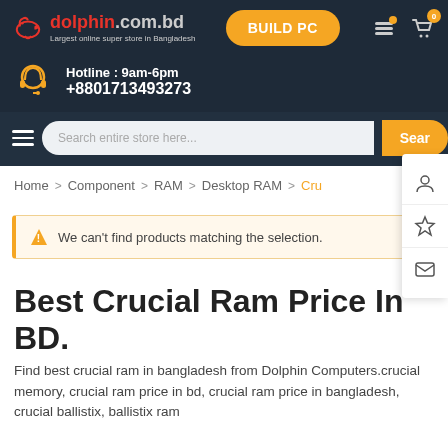[Figure (logo): dolphin.com.bd logo — red dolphin icon with red and blue text, tagline 'Largest online super store in Bangladesh']
[Figure (infographic): BUILD PC orange rounded button]
[Figure (infographic): Stack layers icon and shopping cart icon with badge showing 0]
[Figure (infographic): Yellow headphone icon for hotline]
Hotline : 9am-6pm
+8801713493273
[Figure (infographic): Search bar with placeholder text 'Search entire store here...' and orange Search button]
[Figure (infographic): Sidebar with user, star/wishlist, and envelope icons]
Home > Component > RAM > Desktop RAM > Cru
We can't find products matching the selection.
Best Crucial Ram Price In BD.
Find best crucial ram in bangladesh from Dolphin Computers.crucial memory, crucial ram price in bd, crucial ram price in bangladesh, crucial ballistix, ballistix ram